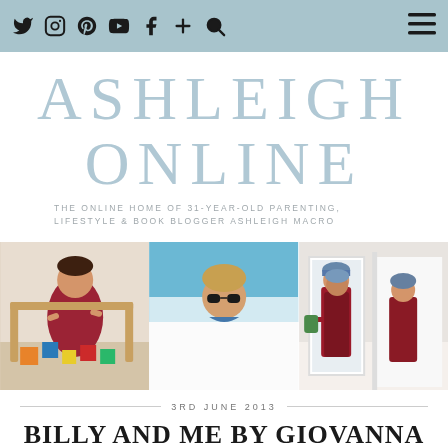Navigation bar with social icons: Twitter, Instagram, Pinterest, YouTube, Facebook, Plus, Search, and hamburger menu
ASHLEIGH ONLINE
THE ONLINE HOME OF 31-YEAR-OLD PARENTING, LIFESTYLE & BOOK BLOGGER ASHLEIGH MACRO
[Figure (photo): Three photos side by side: a young girl in red dress playing with building blocks; a child with sunglasses outdoors; two children in red costume looking in a mirror]
3RD JUNE 2013
BILLY AND ME BY GIOVANNA